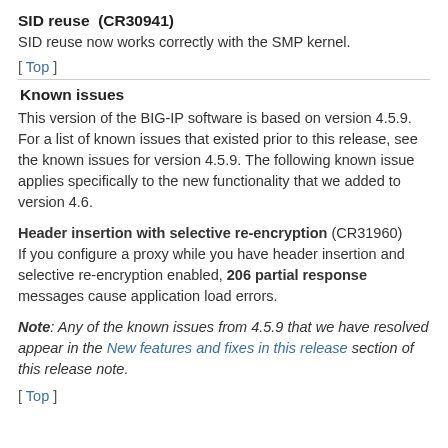SID reuse  (CR30941)
SID reuse now works correctly with the SMP kernel.
[ Top ]
Known issues
This version of the BIG-IP software is based on version 4.5.9. For a list of known issues that existed prior to this release, see the known issues for version 4.5.9. The following known issue applies specifically to the new functionality that we added to version 4.6.
Header insertion with selective re-encryption (CR31960) If you configure a proxy while you have header insertion and selective re-encryption enabled, 206 partial response messages cause application load errors.
Note: Any of the known issues from 4.5.9 that we have resolved appear in the New features and fixes in this release section of this release note.
[ Top ]